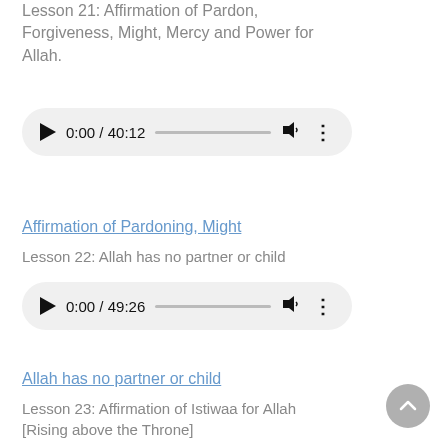Lesson 21: Affirmation of Pardon, Forgiveness, Might, Mercy and Power for Allah.
[Figure (other): Audio player showing 0:00 / 40:12 with play button, progress bar, volume icon, and menu dots]
Affirmation of Pardoning, Might
Lesson 22: Allah has no partner or child
[Figure (other): Audio player showing 0:00 / 49:26 with play button, progress bar, volume icon, and menu dots]
Allah has no partner or child
Lesson 23: Affirmation of Istiwaa for Allah [Rising above the Throne]